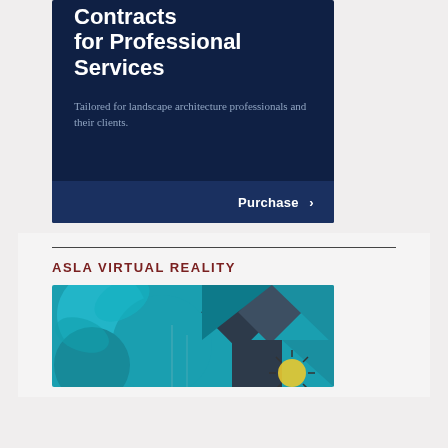[Figure (illustration): Dark navy blue promotional card for 'Contracts for Professional Services', tailored for landscape architecture professionals and their clients, with a Purchase button at the bottom]
Contracts for Professional Services
Tailored for landscape architecture professionals and their clients.
ASLA VIRTUAL REALITY
[Figure (photo): Colorful geometric mural with teal, dark blue and gray shapes on a building exterior, partial view]